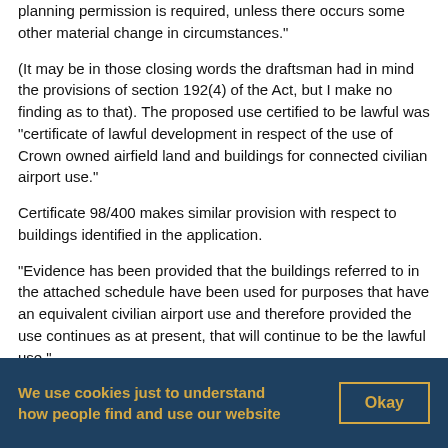planning permission is required, unless there occurs some other material change in circumstances."
(It may be in those closing words the draftsman had in mind the provisions of section 192(4) of the Act, but I make no finding as to that). The proposed use certified to be lawful was "certificate of lawful development in respect of the use of Crown owned airfield land and buildings for connected civilian airport use."
Certificate 98/400 makes similar provision with respect to buildings identified in the application.
"Evidence has been provided that the buildings referred to in the attached schedule have been used for purposes that have an equivalent civilian airport use and therefore provided the use continues as at present, that will continue to be the lawful use."
The Schedule states:
We use cookies just to understand how people find and use our website
Okay